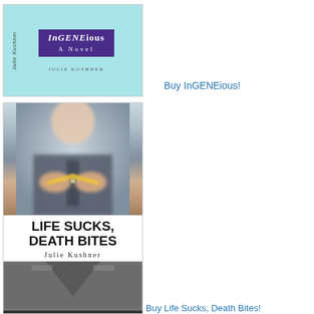[Figure (illustration): Book cover of 'InGENEious: A Novel' by Julie Kushner. Light blue/teal background with a purple rectangle containing the title in white italic text. Author name at bottom in small caps.]
Buy InGENEious!
[Figure (illustration): Book cover of 'Life Sucks, Death Bites' by Julie Kushner. Top portion shows a blurred photo of a man in a suit breaking a pencil. Bottom shows bold title text 'LIFE SUCKS, DEATH BITES' by Julie Kushner, followed by another partial photo of a person in uniform.]
Buy Life Sucks, Death Bites!